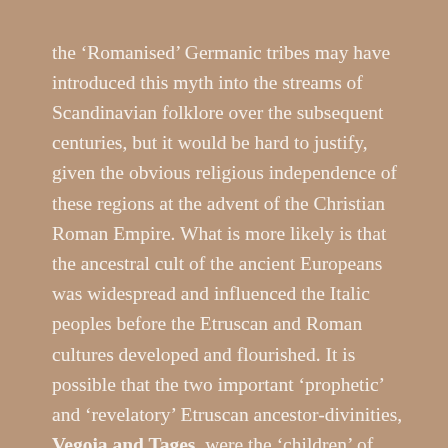the 'Romanised' Germanic tribes may have introduced this myth into the streams of Scandinavian folklore over the subsequent centuries, but it would be hard to justify, given the obvious religious independence of these regions at the advent of the Christian Roman Empire. What is more likely is that the ancestral cult of the ancient Europeans was widespread and influenced the Italic peoples before the Etruscan and Roman cultures developed and flourished. It is possible that the two important 'prophetic' and 'revelatory' Etruscan ancestor-divinities, Vegoia and Tages, were the 'children' of Lara: Etruscan 'Mars' was called 'Laran' 😉
The 'sacred twins' conceived in a grove between a god and lesser divinity are a continuous theme of Greco-Roman religion: The mythological founders of Rome – Romulus and Remus were supposedly begat by Mars